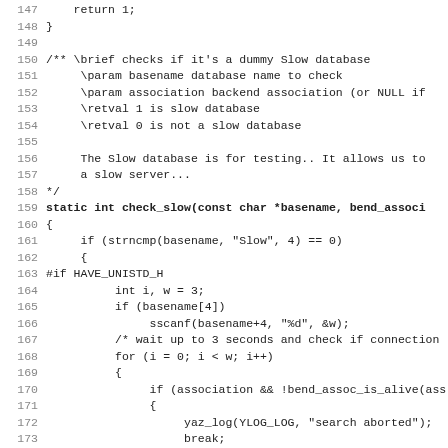[Figure (screenshot): Source code listing showing C code lines 147-179, including a comment block describing check_slow function and its implementation with strncmp, sscanf, for loop, yaz_log, and sleep calls.]